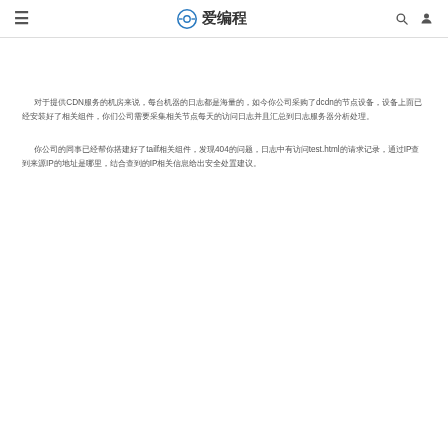≡  ⊙ 爱编程  🔍 👤
对于提供CDN服务的机房来说，每台机器的日志都是海量的，如今你公司采购了dcdn的节点设备，设备上面已经安装好了相关组件，你们公司需要采集相关节点每天的访问日志并且汇总到日志服务器分析处理。
你公司的同事已经帮你搭建好了tailf相关组件，发现404的问题，日志中有访问test.html的请求记录，通过IP查到来源IP的地址是哪里，结合查到的IP相关信息给出安全处置建议。
183.136.179.87 -  -  [24/Feb/2019:10:49:31 +0800] "GET /test.html HTTP/1.1" 404 146 "-" "Go-http-client/1.1"